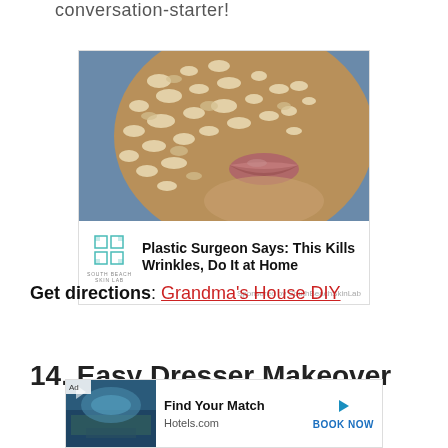conversation-starter!
[Figure (photo): Close-up of a person's face covered in an oatmeal face mask, with an advertisement overlay for South Beach Skin Lab: 'Plastic Surgeon Says: This Kills Wrinkles, Do It at Home'. Sponsored by SouthBeachSkinLab.]
Get directions: Grandma's House DIY
14. Easy Dresser Makeover
[Figure (screenshot): Bottom advertisement bar for Hotels.com: 'Find Your Match' with BOOK NOW button.]